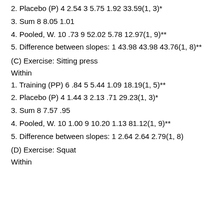2. Placebo (P) 4 2.54 3 5.75 1.92 33.59(1, 3)*
3. Sum 8 8.05 1.01
4. Pooled, W. 10 .73 9 52.02 5.78 12.97(1, 9)**
5. Difference between slopes: 1 43.98 43.98 43.76(1, 8)**
(C) Exercise: Sitting press
Within
1. Training (PP) 6 .84 5 5.44 1.09 18.19(1, 5)**
2. Placebo (P) 4 1.44 3 2.13 .71 29.23(1, 3)*
3. Sum 8 7.57 .95
4. Pooled, W. 10 1.00 9 10.20 1.13 81.12(1, 9)**
5. Difference between slopes: 1 2.64 2.64 2.79(1, 8)
(D) Exercise: Squat
Within